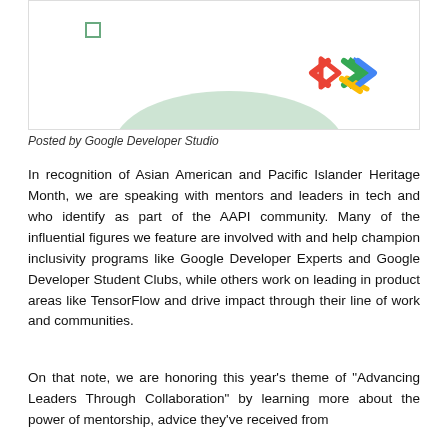[Figure (illustration): Blog header image with a small green square outline in upper left area, a light green hill/mound shape at the bottom center, and Google Developer Studio logo (colored chevron/arrow icon in red, blue, green, yellow) at the lower right.]
Posted by Google Developer Studio
In recognition of Asian American and Pacific Islander Heritage Month, we are speaking with mentors and leaders in tech and who identify as part of the AAPI community. Many of the influential figures we feature are involved with and help champion inclusivity programs like Google Developer Experts and Google Developer Student Clubs, while others work on leading in product areas like TensorFlow and drive impact through their line of work and communities.
On that note, we are honoring this year's theme of "Advancing Leaders Through Collaboration" by learning more about the power of mentorship, advice they've received from